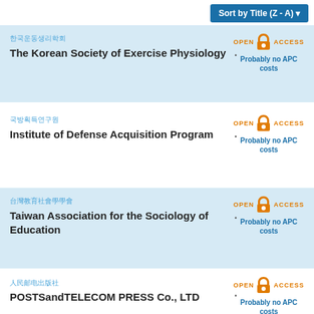Sort by Title (Z - A)
한국운동생리학회 | The Korean Society of Exercise Physiology | Open Access | Probably no APC costs
국방획득연구원 | Institute of Defense Acquisition Program | Open Access | Probably no APC costs
台灣教育社會學學會 | Taiwan Association for the Sociology of Education | Open Access | Probably no APC costs
人民邮电出版社 | POSTSandTELECOM PRESS Co., LTD | Open Access | Probably no APC costs